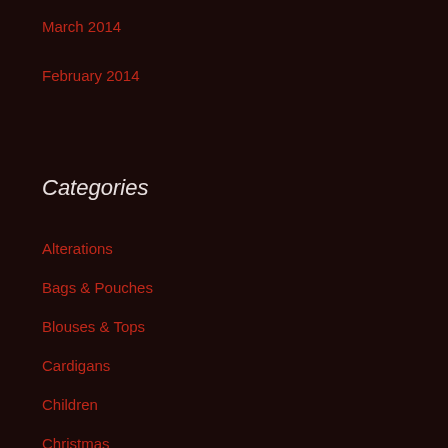March 2014
February 2014
Categories
Alterations
Bags & Pouches
Blouses & Tops
Cardigans
Children
Christmas
Coats and Jackets
Cushions
Dresses